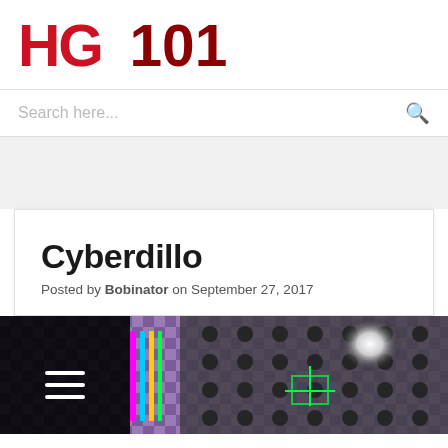[Figure (logo): HG101 logo in bold red letters]
Search here...
Cyberdillo
Posted by Bobinator on September 27, 2017
[Figure (screenshot): Video game screenshot showing a purple checkerboard environment with dark panel on left containing hamburger menu icon, neon colored stripes, green crosshair targeting reticle, and dark grill texture on the right side]